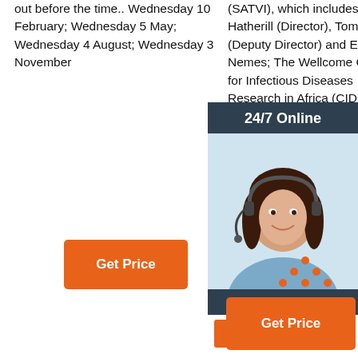out before the time.. Wednesday 10 February; Wednesday 5 May; Wednesday 4 August; Wednesday 3 November
(SATVI), which includes Mark Hatherill (Director), Tom Scriba (Deputy Director) and Elisa Nemes; The Wellcome Centre for Infectious Diseases Research in Africa (CIDRI-Africa) which includes Robert Wilkinson (Director), Graeme Meintjes, Catherine Riou and Anna …
[Figure (other): Orange 'Get Price' button (left column)]
[Figure (infographic): 24/7 Online chat advertisement box with photo of woman wearing headset, dark blue header '24/7 Online', italic text 'Click here for free chat!', and orange QUOTATION button]
[Figure (logo): TOP badge/logo with orange dots arranged in triangle above the word TOP]
[Figure (other): Orange 'Get Price' button (right column)]